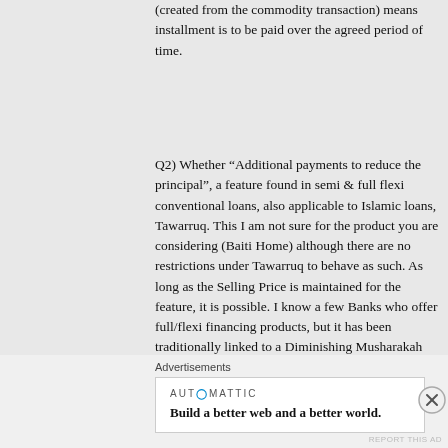(created from the commodity transaction) means installment is to be paid over the agreed period of time.
Q2) Whether “Additional payments to reduce the principal”, a feature found in semi & full flexi conventional loans, also applicable to Islamic loans, Tawarruq. This I am not sure for the product you are considering (Baiti Home) although there are no restrictions under Tawarruq to behave as such. As long as the Selling Price is maintained for the feature, it is possible. I know a few Banks who offer full/flexi financing products, but it has been traditionally linked to a Diminishing Musharakah product. But Tawarruq, it is possible as it works just like a Tawarruq
Advertisements
[Figure (other): Automattic advertisement banner: 'Build a better web and a better world.']